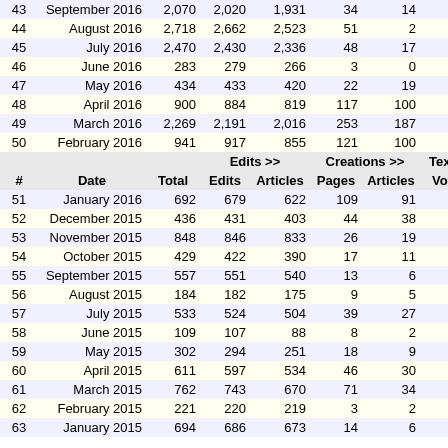| # | Date | Total | Edits | Articles | Pages | Articles | Volume |
| --- | --- | --- | --- | --- | --- | --- | --- |
| 43 | September 2016 | 2,070 | 2,020 | 1,931 | 34 | 14 | 170 k |
| 44 | August 2016 | 2,718 | 2,662 | 2,523 | 51 | 2 | 317 k |
| 45 | July 2016 | 2,470 | 2,430 | 2,336 | 48 | 17 | 389 k |
| 46 | June 2016 | 283 | 279 | 266 | 3 | 0 | 172 k |
| 47 | May 2016 | 434 | 433 | 420 | 22 | 19 | 471 k |
| 48 | April 2016 | 900 | 884 | 819 | 117 | 100 | 497 k |
| 49 | March 2016 | 2,269 | 2,191 | 2,016 | 253 | 187 | 1.4 M |
| 50 | February 2016 | 941 | 917 | 855 | 121 | 100 | 534 k |
| 51 | January 2016 | 692 | 679 | 622 | 109 | 91 | 566 k |
| 52 | December 2015 | 436 | 431 | 403 | 44 | 38 | 461 k |
| 53 | November 2015 | 848 | 846 | 833 | 26 | 19 | 596 k |
| 54 | October 2015 | 429 | 422 | 390 | 17 | 11 | 273 k |
| 55 | September 2015 | 557 | 551 | 540 | 13 | 6 | 294 k |
| 56 | August 2015 | 184 | 182 | 175 | 9 | 5 | 89 k |
| 57 | July 2015 | 533 | 524 | 504 | 39 | 27 | 465 k |
| 58 | June 2015 | 109 | 107 | 88 | 8 | 2 | 60 k |
| 59 | May 2015 | 302 | 294 | 251 | 18 | 9 | 224 k |
| 60 | April 2015 | 611 | 597 | 534 | 46 | 30 | 363 k |
| 61 | March 2015 | 762 | 743 | 670 | 71 | 34 | 630 k |
| 62 | February 2015 | 221 | 220 | 219 | 3 | 2 | 138 k |
| 63 | January 2015 | 694 | 686 | 673 | 14 | 6 | 483 k |